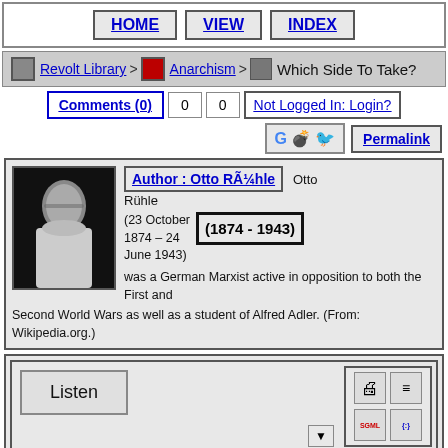HOME | VIEW | INDEX
Revolt Library > Anarchism > Which Side To Take?
Comments (0)  0  0  Not Logged In: Login?
Permalink
Author : Otto RÃ¼hle
Otto Rühle
(23 October 1874 – 24 June 1943)
(1874 - 1943)
was a German Marxist active in opposition to both the First and Second World Wars as well as a student of Alfred Adler. (From: Wikipedia.org.)
Listen